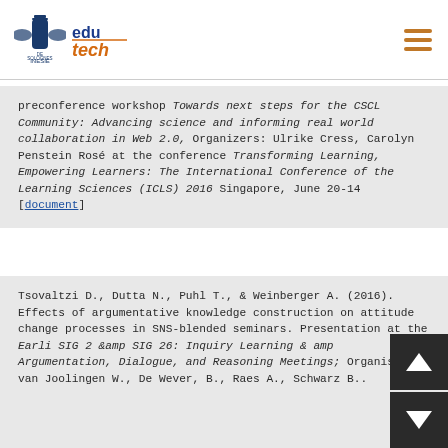INESIE / Edutech logos and navigation menu
preconference workshop Towards next steps for the CSCL Community: Advancing science and informing real world collaboration in Web 2.0, Organizers: Ulrike Cress, Carolyn Penstein Rosé at the conference Transforming Learning, Empowering Learners: The International Conference of the Learning Sciences (ICLS) 2016 Singapore, June 20-14 [document]
Tsovaltzi D., Dutta N., Puhl T., & Weinberger A. (2016). Effects of argumentative knowledge construction on attitude change processes in SNS-blended seminars. Presentation at the Earli SIG 2 &amp SIG 26: Inquiry Learning & amp Argumentation, Dialogue, and Reasoning Meetings; Organisers: van Joolingen W., De Wever, B., Raes A., Schwarz B.